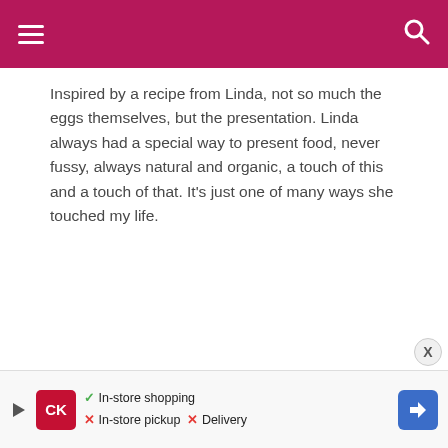Navigation bar with hamburger menu and search icon
Inspired by a recipe from Linda, not so much the eggs themselves, but the presentation. Linda always had a special way to present food, never fussy, always natural and organic, a touch of this and a touch of that. It's just one of many ways she touched my life.
Food Styling Workshop in St. Louis
[Figure (photo): Three women smiling, photographed in a dimly lit restaurant or venue setting]
[Figure (infographic): Advertisement banner: Kroger store with In-store shopping checkmark, In-store pickup X, Delivery X, and a blue navigation arrow icon]